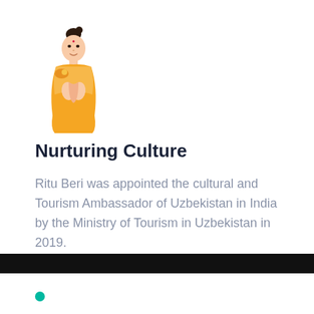[Figure (illustration): Illustrated Indian woman in traditional orange sari with hands pressed together in namaste greeting pose, with dark hair bun]
Nurturing Culture
Ritu Beri was appointed the cultural and Tourism Ambassador of Uzbekistan in India by the Ministry of Tourism in Uzbekistan in 2019.